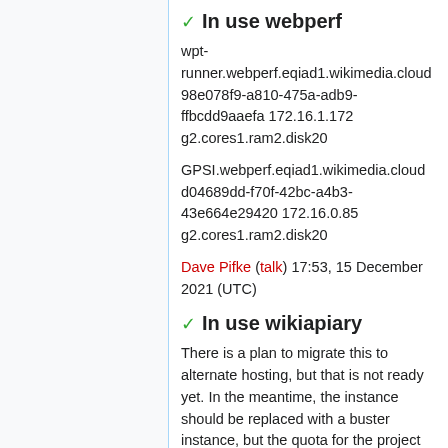✓ In use webperf
wpt-runner.webperf.eqiad1.wikimedia.cloud 98e078f9-a810-475a-adb9-ffbcdd9aaefa 172.16.1.172 g2.cores1.ram2.disk20
GPSI.webperf.eqiad1.wikimedia.cloud d04689dd-f70f-42bc-a4b3-43e664e29420 172.16.0.85 g2.cores1.ram2.disk20
Dave Pifke (talk) 17:53, 15 December 2021 (UTC)
✓ In use wikiapiary
There is a plan to migrate this to alternate hosting, but that is not ready yet. In the meantime, the instance should be replaced with a buster instance, but the quota for the project will